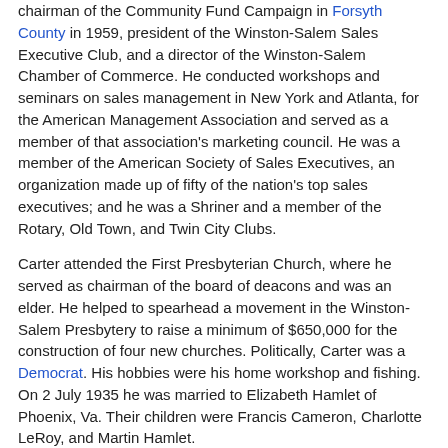chairman of the Community Fund Campaign in Forsyth County in 1959, president of the Winston-Salem Sales Executive Club, and a director of the Winston-Salem Chamber of Commerce. He conducted workshops and seminars on sales management in New York and Atlanta, for the American Management Association and served as a member of that association's marketing council. He was a member of the American Society of Sales Executives, an organization made up of fifty of the nation's top sales executives; and he was a Shriner and a member of the Rotary, Old Town, and Twin City Clubs.
Carter attended the First Presbyterian Church, where he served as chairman of the board of deacons and was an elder. He helped to spearhead a movement in the Winston-Salem Presbytery to raise a minimum of $650,000 for the construction of four new churches. Politically, Carter was a Democrat. His hobbies were his home workshop and fishing. On 2 July 1935 he was married to Elizabeth Hamlet of Phoenix, Va. Their children were Francis Cameron, Charlotte LeRoy, and Martin Hamlet.
References: